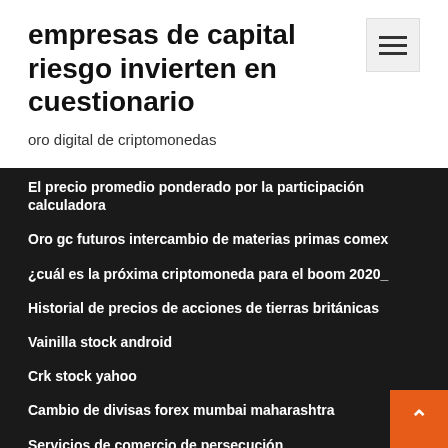empresas de capital riesgo invierten en cuestionario
oro digital de criptomonedas
El precio promedio ponderado por la participación calculadora
Oro gc futuros intercambio de materias primas comex
¿cuál es la próxima criptomoneda para el boom 2020_
Historial de precios de acciones de tierras británicas
Vainilla stock android
Crk stock yahoo
Cambio de divisas forex mumbai maharashtra
Servicios de comercio de persecución